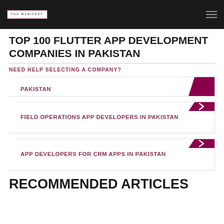THE MANIFEST
TOP 100 FLUTTER APP DEVELOPMENT COMPANIES IN PAKISTAN
NEED HELP SELECTING A COMPANY?
PAKISTAN
FIELD OPERATIONS APP DEVELOPERS IN PAKISTAN
APP DEVELOPERS FOR CRM APPS IN PAKISTAN
RECOMMENDED ARTICLES